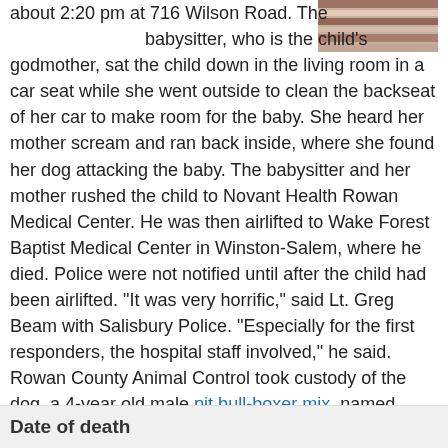[Figure (photo): Partial photo visible in top-right corner showing striped pattern, appears to be a cropped image of a person or animal.]
about 2:20 pm at 716 Wilson Road. The babysitter, who is the child's godmother, sat the child down in the living room in a car seat while she went outside to clean the backseat of her car to make room for the baby. She heard her mother scream and ran back inside, where she found her dog attacking the baby. The babysitter and her mother rushed the child to Novant Health Rowan Medical Center. He was then airlifted to Wake Forest Baptist Medical Center in Winston-Salem, where he died. Police were not notified until after the child had been airlifted. "It was very horrific," said Lt. Greg Beam with Salisbury Police. "Especially for the first responders, the hospital staff involved," he said. Rowan County Animal Control took custody of the dog, a 4-year old male pit bull-boxer mix, named King. Shelter staff said the dog had displayed aggressive behavior at the facility. The dog was later put down. [source citations]
Date of death